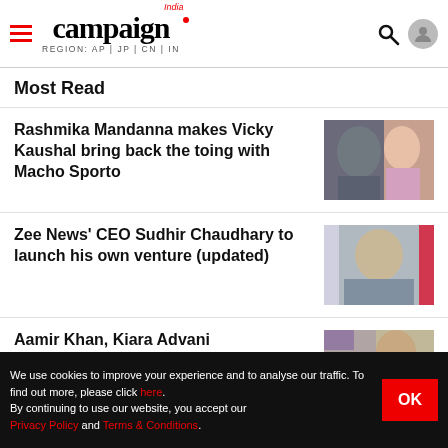campaign India — REGION: AP | JP | CN | IN
Most Read
Rashmika Mandanna makes Vicky Kaushal bring back the toing with Macho Sporto
[Figure (photo): Photo of Rashmika Mandanna and Vicky Kaushal for Macho Sporto advertisement]
Zee News' CEO Sudhir Chaudhary to launch his own venture (updated)
[Figure (photo): Photo of Sudhir Chaudhary, Zee News CEO]
Aamir Khan, Kiara Advani...
[Figure (photo): Photo of Aamir Khan and Kiara Advani]
We use cookies to improve your experience and to analyse our traffic. To find out more, please click here. By continuing to use our website, you accept our Privacy Policy and Terms & Conditions.